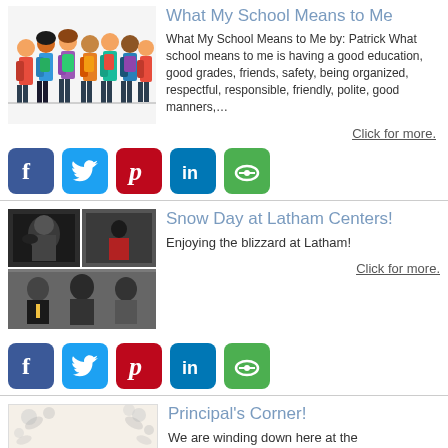[Figure (illustration): Children with backpacks standing in a row illustration]
What My School Means to Me
What My School Means to Me by: Patrick What school means to me is having a good education, good grades, friends, safety, being organized, respectful, responsible, friendly, polite, good manners,...
Click for more.
[Figure (infographic): Social media sharing icons: Facebook, Twitter, Pinterest, LinkedIn, and a green icon]
[Figure (photo): Collage of snow day photos at Latham Centers]
Snow Day at Latham Centers!
Enjoying the blizzard at Latham!
Click for more.
[Figure (infographic): Social media sharing icons: Facebook, Twitter, Pinterest, LinkedIn, and a green icon]
[Figure (photo): Principal's Corner decorative image with floral pattern and text Principal's]
Principal's Corner!
We are winding down here at the